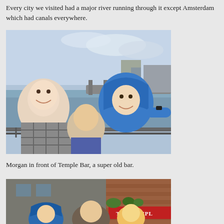Every city we visited had a major river running through it except Amsterdam which had canals everywhere.
[Figure (photo): A man and two boys smiling for a selfie in front of a river with a bridge and city buildings in the background. The older boy is wearing a blue rain jacket with the hood up.]
Morgan in front of Temple Bar, a super old bar.
[Figure (photo): People in blue rain jackets standing in front of The Temple Bar pub, a red-painted old building with signage reading 'THE TEMPLE'.]